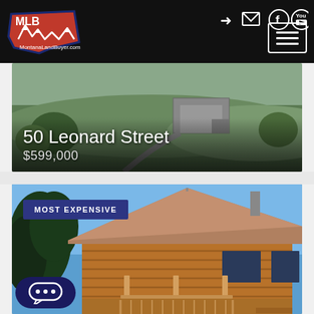MontanaLandBuyer.com navigation header
[Figure (photo): Aerial view of property at 50 Leonard Street with green hillside and building]
50 Leonard Street
$599,000
[Figure (photo): Log cabin style home exterior with metal roof, porch railing, and blue sky background. Labeled MOST EXPENSIVE.]